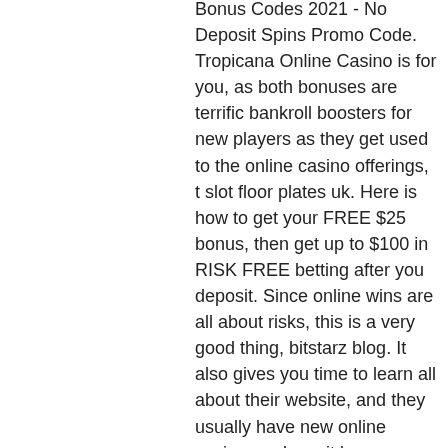Bonus Codes 2021 - No Deposit Spins Promo Code. Tropicana Online Casino is for you, as both bonuses are terrific bankroll boosters for new players as they get used to the online casino offerings, t slot floor plates uk. Here is how to get your FREE $25 bonus, then get up to $100 in RISK FREE betting after you deposit. Since online wins are all about risks, this is a very good thing, bitstarz blog. It also gives you time to learn all about their website, and they usually have new online casino no deposit bonus codes you can use to claim the offer. Mobile Games at True Blue Casino. As we know, the world is constantly changing, irs form for gambling losses. Rest assured, you will be fully satisfied with all the US online casinos and free casino no deposit bonuses we list, shopping mall near winstar casino. Be sure to check them out and opt for the one that is right for you. They are given to new players